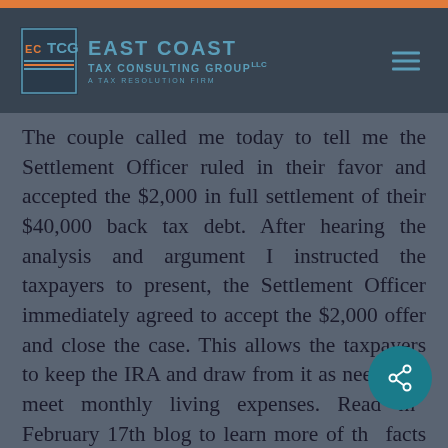[Figure (logo): East Coast Tax Consulting Group LLC logo with teal text on dark background, with hamburger menu icon]
The couple called me today to tell me the Settlement Officer ruled in their favor and accepted the $2,000 in full settlement of their $40,000 back tax debt. After hearing the analysis and argument I instructed the taxpayers to present, the Settlement Officer immediately agreed to accept the $2,000 offer and close the case. This allows the taxpayers to keep the IRA and draw from it as needed to meet monthly living expenses. Read my February 17th blog to learn more of the facts of the case and the advice I gave